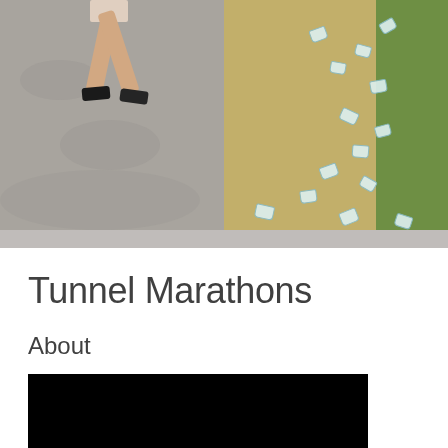[Figure (photo): A runner's legs visible from waist down running on a gravel path, with scattered white paper/plastic cups on the dry grass to the right side of the trail.]
Tunnel Marathons
About
[Figure (other): Black video or embed placeholder block]